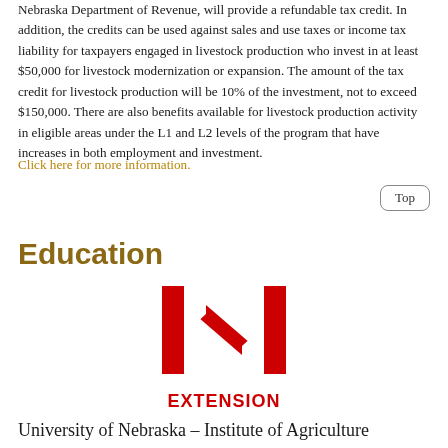Nebraska Department of Revenue, will provide a refundable tax credit. In addition, the credits can be used against sales and use taxes or income tax liability for taxpayers engaged in livestock production who invest in at least $50,000 for livestock modernization or expansion. The amount of the tax credit for livestock production will be 10% of the investment, not to exceed $150,000. There are also benefits available for livestock production activity in eligible areas under the L1 and L2 levels of the program that have increases in both employment and investment.
Click here for more information.
Education
[Figure (logo): University of Nebraska Extension logo — large red block letter N above the word EXTENSION in bold red capitals]
University of Nebraska – Institute of Agriculture